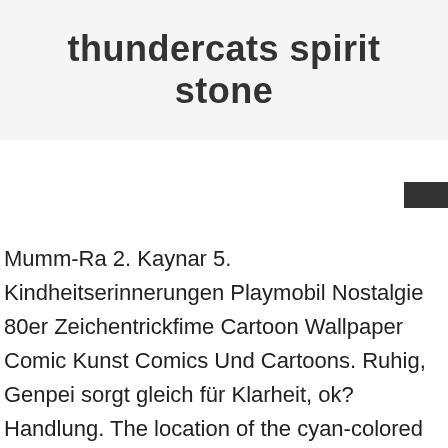thundercats spirit stone
Mumm-Ra 2. Kaynar 5. Kindheitserinnerungen Playmobil Nostalgie 80er Zeichentrickfime Cartoon Wallpaper Comic Kunst Comics Und Cartoons. Ruhig, Genpei sorgt gleich für Klarheit, ok? Handlung. The location of the cyan-colored stone is currently unknown. What it could be? So far it was only used once by Mumm-Ra to create the Armor of Plun-Darr when he infused the stone ... ENLIGHTENMENT BRACELET WITH MAP JASPER & 14K GOLD . Centuries ago, the Spirit Stone was in Mumm-Ra's possession, along with two other Power